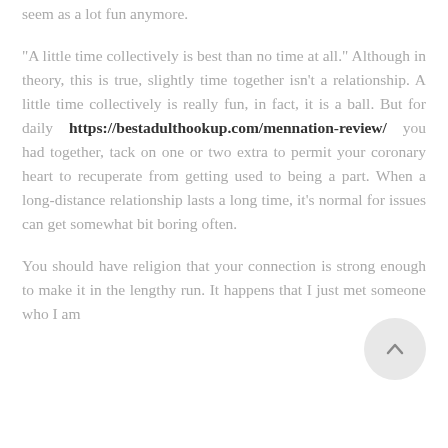seem as a lot fun anymore.
"A little time collectively is best than no time at all." Although in theory, this is true, slightly time together isn't a relationship. A little time collectively is really fun, in fact, it is a ball. But for daily https://bestadulthookup.com/mennation-review/ you had together, tack on one or two extra to permit your coronary heart to recuperate from getting used to being a part. When a long-distance relationship lasts a long time, it's normal for issues can get somewhat bit boring often.
You should have religion that your connection is strong enough to make it in the lengthy run. It happens that I just met someone who I am
[Figure (other): Scroll-to-top circular button with an upward arrow icon]